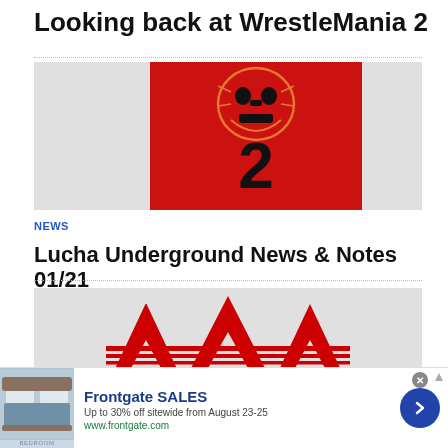Looking back at WrestleMania 2
[Figure (illustration): Red background with a lucha libre wrestling mask and the number 2 below it in black]
NEWS
Lucha Underground News & Notes 01/21
[Figure (logo): AAA wrestling logo — three red triangular letter As with horizontal red lines crossing through them on a grey background]
RESULTS
Frontgate SALES
Up to 30% off sitewide from August 23-25
www.frontgate.com